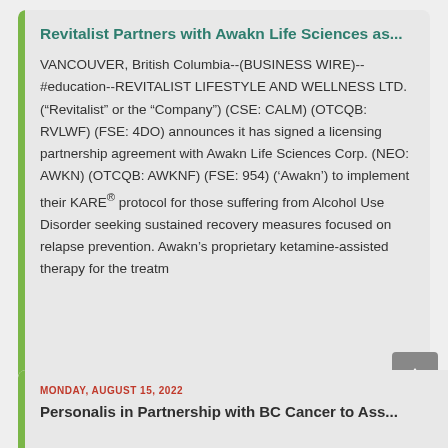Revitalist Partners with Awakn Life Sciences as...
VANCOUVER, British Columbia--(BUSINESS WIRE)--#education--REVITALIST LIFESTYLE AND WELLNESS LTD. (“Revitalist” or the “Company”) (CSE: CALM) (OTCQB: RVLWF) (FSE: 4DO) announces it has signed a licensing partnership agreement with Awakn Life Sciences Corp. (NEO: AWKN) (OTCQB: AWKNF) (FSE: 954) (‘Awakn’) to implement their KARE® protocol for those suffering from Alcohol Use Disorder seeking sustained recovery measures focused on relapse prevention. Awakn’s proprietary ketamine-assisted therapy for the treatm
MONDAY, AUGUST 15, 2022
Personalis in Partnership with BC Cancer to Ass...